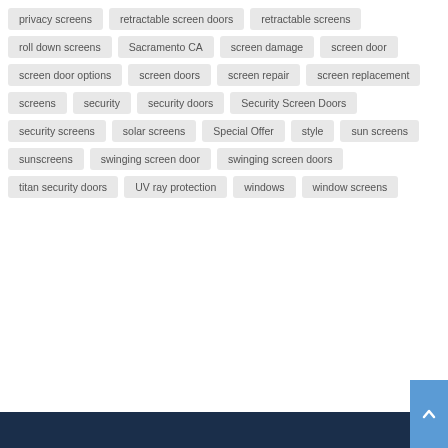privacy screens
retractable screen doors
retractable screens
roll down screens
Sacramento CA
screen damage
screen door
screen door options
screen doors
screen repair
screen replacement
screens
security
security doors
Security Screen Doors
security screens
solar screens
Special Offer
style
sun screens
sunscreens
swinging screen door
swinging screen doors
titan security doors
UV ray protection
windows
window screens